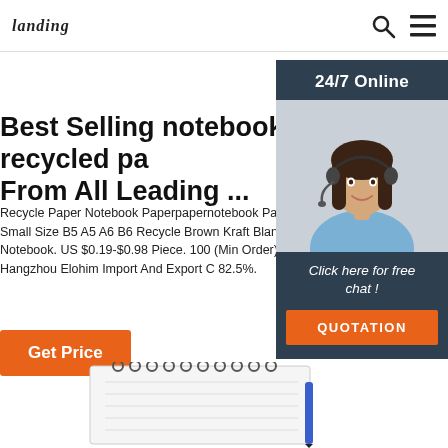landing [logo]
Best Selling notebook recycled pa From All Leading ...
Recycle Paper Notebook Paperpapernotebook Paper Custom Small Size B5 A5 A6 B6 Recycle Brown Kraft Blank Sewing Notebook. US $0.19-$0.98 Piece. 100 (Min Order) 4 YRS Hangzhou Elohim Import And Export C 82.5%.
[Figure (other): 24/7 Online chat widget with woman wearing headset and QUOTATION button]
Get Price
[Figure (photo): Spiral-bound notebook with pen, viewed from above at an angle]